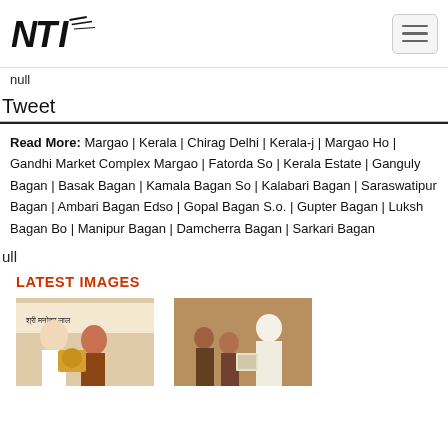NTI logo and navigation
null
Tweet
Read More: Margao | Kerala | Chirag Delhi | Kerala-j | Margao Ho | Gandhi Market Complex Margao | Fatorda So | Kerala Estate | Ganguly Bagan | Basak Bagan | Kamala Bagan So | Kalabari Bagan | Saraswatipur Bagan | Ambari Bagan Edso | Gopal Bagan S.o. | Gupter Bagan | Luksh Bagan Bo | Manipur Bagan | Damcherra Bagan | Sarkari Bagan
ull
LATEST IMAGES
[Figure (photo): Photo of people at an event with Hindi text visible]
[Figure (photo): Photo of people looking at something together indoors]